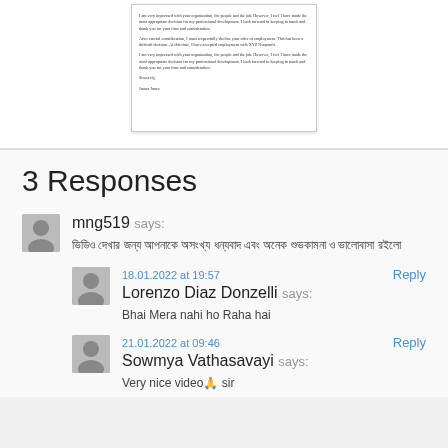[Figure (screenshot): A preview/thumbnail of a letter document with small text paragraphs, ending with 'Sincerely' and a name]
3 Responses
mng519 says:
ভিডিও দেখার জন্য আপনাকে অসংখ্য ধন্যবাদ এবং অনেক শুভকামনা ও ভালোবাসা রইলো
18.01.2022 at 19:57
Lorenzo Diaz Donzelli says:
Bhai Mera nahi ho Raha hai
21.01.2022 at 09:46
Sowmya Vathasavayi says:
Very nice video🙏 sir